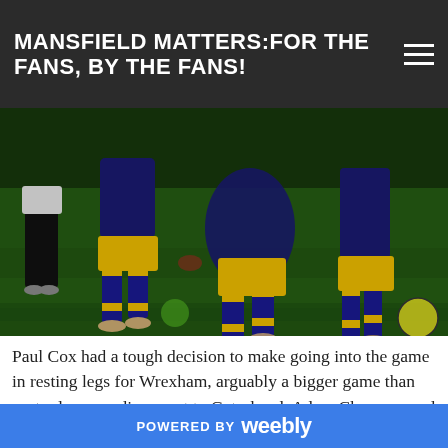MANSFIELD MATTERS:FOR THE FANS, BY THE FANS!
[Figure (photo): Close-up action photo of football players during a match, showing legs with yellow and blue Mansfield Town kit socks, on a green grass pitch at night]
Paul Cox had a tough decision to make going into the game in resting legs for Wrexham, arguably a bigger game than yesterday – no disrespect to Gateshead. Adam Chapman and Lindon Meikle were rested for Anthony Howell and Junior Daniel, the former putting in a solid man of the match display and making it tough for Cox ahead of Thursday.
POWERED BY weebly